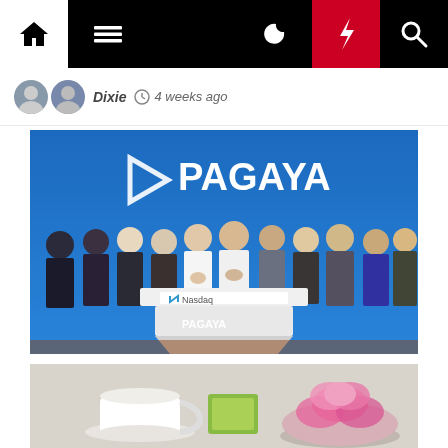Navigation bar with home, menu, moon, bolt, search icons
Dixie  4 weeks ago
[Figure (photo): Group photo of Pagaya employees at Nasdaq stock exchange listing event. Large Pagaya logo on blue background wall. Nasdaq podium with Pagaya branding in foreground. Crowd of approximately 40 people clapping and celebrating.]
[Figure (photo): Partial view of a table scene showing a white coffee cup and saucer on the left, and a pink flower arrangement on the right.]